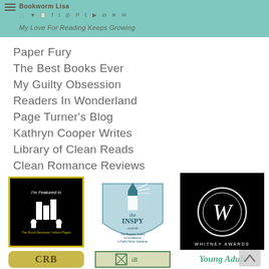Bookworm Lisa – My Love For Reading Keeps Growing
Paper Fury
The Best Books Ever
My Guilty Obsession
Readers In Wonderland
Page Turner's Blog
Kathryn Cooper Writes
Library of Clean Reads
Clean Romance Reviews
[Figure (logo): I'm Featured in The Book Reviewer Yellow Pages badge, black background with yellow border, white book icons and figures]
[Figure (logo): INSPY Awards badge – shield shape with lighthouse, teal/blue colors, text: The Readers' Award for Excellence in Faith-Driven Literature]
[Figure (logo): Whitney Awards badge – black background with decorative W monogram in circle]
[Figure (logo): CRB badge – olive/gold rounded rectangle with CRB letters]
[Figure (logo): Green and white geometric design badge]
[Figure (logo): Young Adult logo in teal/green stylized text]